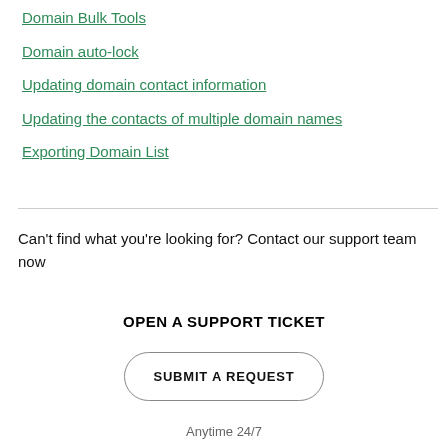Domain Bulk Tools
Domain auto-lock
Updating domain contact information
Updating the contacts of multiple domain names
Exporting Domain List
Can't find what you're looking for? Contact our support team now
OPEN A SUPPORT TICKET
SUBMIT A REQUEST
Anytime 24/7